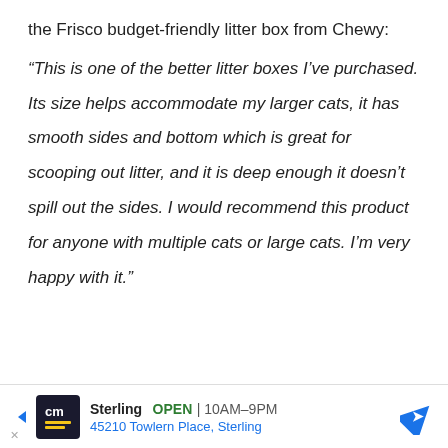the Frisco budget-friendly litter box from Chewy:
“This is one of the better litter boxes I’ve purchased. Its size helps accommodate my larger cats, it has smooth sides and bottom which is great for scooping out litter, and it is deep enough it doesn’t spill out the sides. I would recommend this product for anyone with multiple cats or large cats. I’m very happy with it.”
[Figure (other): Advertisement banner: cm logo (dark background with yellow lines), Sterling OPEN 10AM-9PM, 45210 Towlern Place, Sterling, with navigation arrow icon]